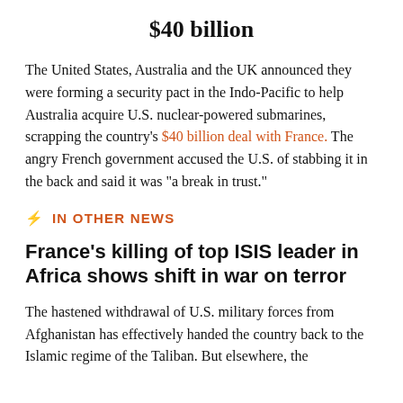$40 billion
The United States, Australia and the UK announced they were forming a security pact in the Indo-Pacific to help Australia acquire U.S. nuclear-powered submarines, scrapping the country's $40 billion deal with France. The angry French government accused the U.S. of stabbing it in the back and said it was "a break in trust."
IN OTHER NEWS
France's killing of top ISIS leader in Africa shows shift in war on terror
The hastened withdrawal of U.S. military forces from Afghanistan has effectively handed the country back to the Islamic regime of the Taliban. But elsewhere, the